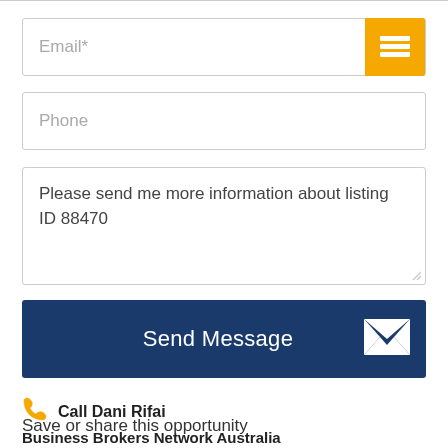[Figure (screenshot): Email input field with placeholder text 'Email*' and a yellow menu/hamburger icon button on the right]
[Figure (screenshot): Phone input field with placeholder text 'Phone']
Please send me more information about listing ID 88470
[Figure (screenshot): Blue 'Send Message' button with white envelope icon on the right]
Call Dani Rifai
Business Brokers Network Australia
Broker Ref: 5791
Save or share this opportunity